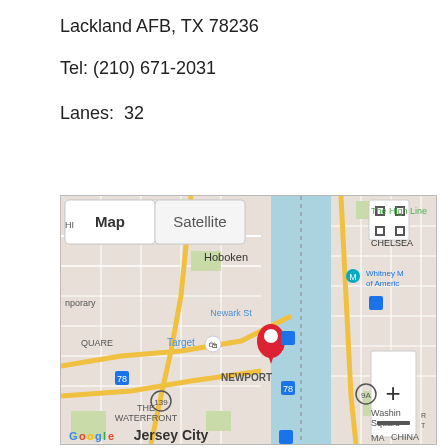Lackland AFB, TX 78236
Tel: (210) 671-2031
Lanes:  32
[Figure (map): Google Maps screenshot showing the Hudson River area between New Jersey and Manhattan, with a red location pin near Newport/Jersey City waterfront. Map/Satellite toggle visible at top left. Labels include Hoboken, Newark St, Target, NEWPORT, THE WATERFRONT, Jersey City, The High Line, CHELSEA, Whitney M of America.]